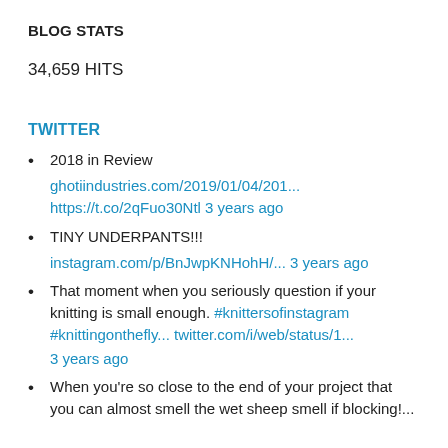BLOG STATS
34,659 HITS
TWITTER
2018 in Review ghotiindustries.com/2019/01/04/201... https://t.co/2qFuo30Ntl 3 years ago
TINY UNDERPANTS!!! instagram.com/p/BnJwpKNHohH/... 3 years ago
That moment when you seriously question if your knitting is small enough. #knittersofinstagram #knittingonthefly... twitter.com/i/web/status/1... 3 years ago
When you're so close to the end of your project that you can almost smell the wet sheep smell if blocking!...